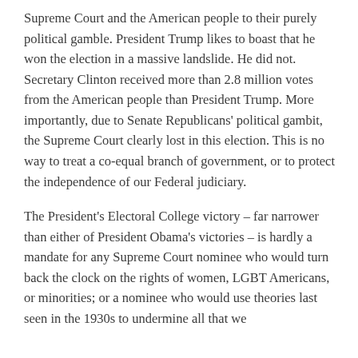Supreme Court and the American people to their purely political gamble. President Trump likes to boast that he won the election in a massive landslide. He did not. Secretary Clinton received more than 2.8 million votes from the American people than President Trump. More importantly, due to Senate Republicans' political gambit, the Supreme Court clearly lost in this election. This is no way to treat a co-equal branch of government, or to protect the independence of our Federal judiciary.
The President's Electoral College victory – far narrower than either of President Obama's victories – is hardly a mandate for any Supreme Court nominee who would turn back the clock on the rights of women, LGBT Americans, or minorities; or a nominee who would use theories last seen in the 1930s to undermine all that we